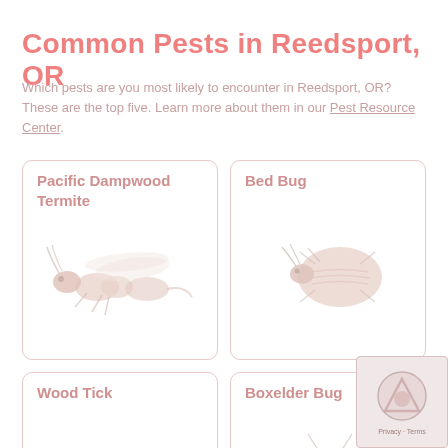Common Pests in Reedsport, OR
Which pests are you most likely to encounter in Reedsport, OR? These are the top five. Learn more about them in our Pest Resource Center.
[Figure (illustration): Card showing Pacific Dampwood Termite with an illustration of a termite insect]
[Figure (illustration): Card showing Bed Bug with an illustration of a bed bug]
[Figure (illustration): Card showing Wood Tick with an illustration of a tick]
[Figure (illustration): Card showing Boxelder Bug with an illustration of a boxelder bug]
[Figure (other): reCAPTCHA verification widget overlay in bottom-right corner]